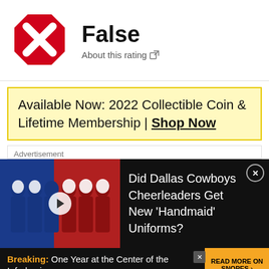[Figure (illustration): Red octagonal false/stop icon with white X inside, like a 'False' rating badge from a fact-checking site]
False
About this rating [external link icon]
Available Now: 2022 Collectible Coin & Lifetime Membership | Shop Now
Advertisement
[Figure (photo): Photo of people in blue and red costumes with white head coverings, resembling Handmaid's Tale uniforms. A play button overlay is visible.]
Did Dallas Cowboys Cheerleaders Get New 'Handmaid' Uniforms?
Breaking: One Year at the Center of the Infodemic
READ MORE ON SNOPES